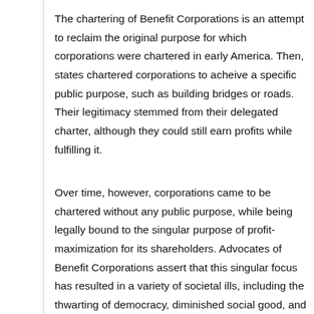The chartering of Benefit Corporations is an attempt to reclaim the original purpose for which corporations were chartered in early America. Then, states chartered corporations to acheive a specific public purpose, such as building bridges or roads. Their legitimacy stemmed from their delegated charter, although they could still earn profits while fulfilling it.
Over time, however, corporations came to be chartered without any public purpose, while being legally bound to the singular purpose of profit-maximization for its shareholders. Advocates of Benefit Corporations assert that this singular focus has resulted in a variety of societal ills, including the thwarting of democracy, diminished social good, and negative environmental impacts.